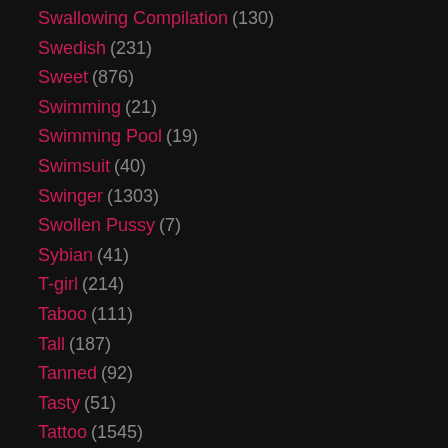Swallowing Compilation (130)
Swedish (231)
Sweet (876)
Swimming (21)
Swimming Pool (19)
Swimsuit (40)
Swinger (1303)
Swollen Pussy (7)
Sybian (41)
T-girl (214)
Taboo (111)
Tall (187)
Tanned (92)
Tasty (51)
Tattoo (1545)
Taxi (123)